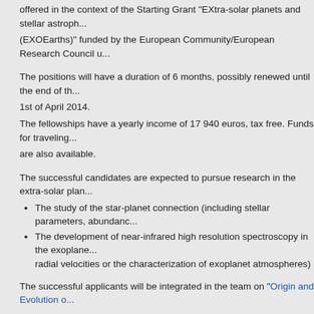offered in the context of the Starting Grant "EXtra-solar planets and stellar astrophysics" (EXOEarths)" funded by the European Community/European Research Council u...
The positions will have a duration of 6 months, possibly renewed until the end of the project, 1st of April 2014.
The fellowships have a yearly income of 17 940 euros, tax free. Funds for traveling are also available.
The successful candidates are expected to pursue research in the extra-solar planet...
The study of the star-planet connection (including stellar parameters, abundances...
The development of near-infrared high resolution spectroscopy in the exoplanet... radial velocities or the characterization of exoplanet atmospheres)
The successful applicants will be integrated in the team on "Origin and Evolution o...
Application
The application, to be submitted by email, should include the following:
Cover letter/e-mail with a brief description of the candidate's experience and motivation;
Curriculum Vitae (up to 4 pages - with the indication of the average number of citations per paper from ADS);
Complete list of publications;
Name and contact details (position, email, address) of up to three referees, available (to be contacted if considered necessary).